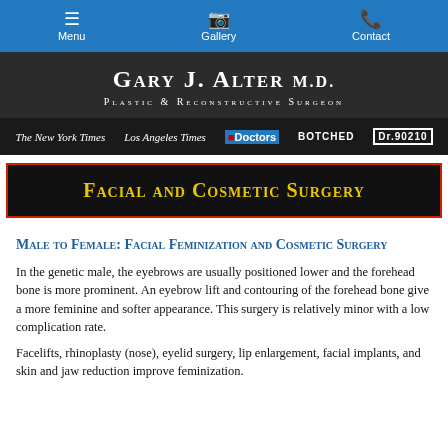Menu | Gallery | Contact
Gary J. Alter M.D. Plastic & Reconstructive Surgeon
[Figure (logo): Media logos: The New York Times, Los Angeles Times, The Doctors, BOTCHED, Dr.90210]
Facial and Cosmetic Surgery
Male to Female: Facial Feminization and Cosmetic Surgery
In the genetic male, the eyebrows are usually positioned lower and the forehead bone is more prominent. An eyebrow lift and contouring of the forehead bone give a more feminine and softer appearance. This surgery is relatively minor with a low complication rate.
Facelifts, rhinoplasty (nose), eyelid surgery, lip enlargement, facial implants, and skin and jaw reduction improve feminization.